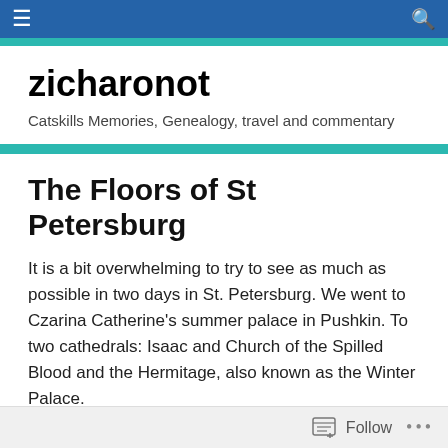zicharonot — navigation header with hamburger menu and search icon
zicharonot
Catskills Memories, Genealogy, travel and commentary
The Floors of St Petersburg
It is a bit overwhelming to try to see as much as possible in two days in St. Petersburg. We went to Czarina Catherine's summer palace in Pushkin. To two cathedrals: Isaac and Church of the Spilled Blood and the Hermitage, also known as the Winter Palace.
They were opulent, they were amazing, they were beyond
Follow